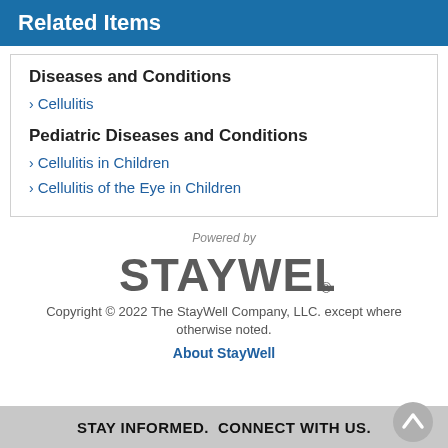Related Items
Diseases and Conditions
Cellulitis
Pediatric Diseases and Conditions
Cellulitis in Children
Cellulitis of the Eye in Children
Powered by
[Figure (logo): StayWell logo in large gray text with registered trademark symbol]
Copyright © 2022 The StayWell Company, LLC. except where otherwise noted.
About StayWell
STAY INFORMED.  CONNECT WITH US.